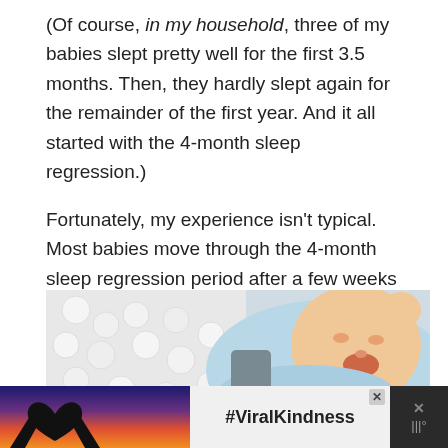(Of course, in my household, three of my babies slept pretty well for the first 3.5 months. Then, they hardly slept again for the remainder of the first year. And it all started with the 4-month sleep regression.)
Fortunately, my experience isn't typical. Most babies move through the 4-month sleep regression period after a few weeks and go back to their typical sleeping habits.
[Figure (photo): A crying newborn baby wearing a light blue onesie, lying on a white knitted blanket, photographed from above at an angle.]
[Figure (infographic): Advertisement banner with dark background, hands forming a heart shape on the left with a colorful sunset, #ViralKindness text in the center on light background, and an X close button.]